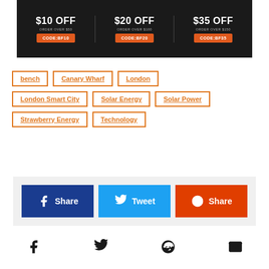[Figure (infographic): Promotional discount banner on dark background showing three discount tiers: $10 OFF ORDER OVER $50 CODE:BF10, $20 OFF ORDER OVER $100 CODE:BF20, $35 OFF ORDER OVER $150 CODE:BF35]
bench
Canary Wharf
London
London Smart City
Solar Energy
Solar Power
Strawberry Energy
Technology
[Figure (infographic): Social share buttons row: Facebook Share (dark blue), Tweet (light blue), Reddit Share (orange-red)]
[Figure (infographic): Bottom row of social media icons: Facebook, Twitter, Reddit, Email]